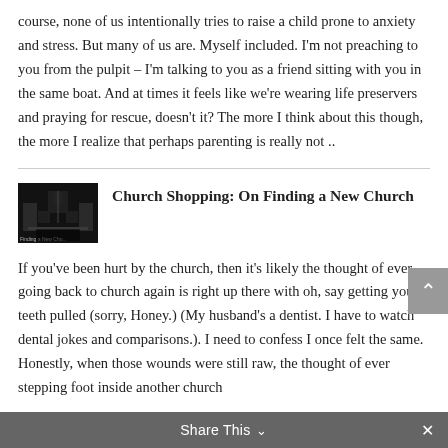course, none of us intentionally tries to raise a child prone to anxiety and stress. But many of us are. Myself included. I'm not preaching to you from the pulpit – I'm talking to you as a friend sitting with you in the same boat. And at times it feels like we're wearing life preservers and praying for rescue, doesn't it? The more I think about this though, the more I realize that perhaps parenting is really not ..
[Figure (photo): Thumbnail image of a church interior, dark with pews visible, labeled 'Finding a New Church']
Church Shopping: On Finding a New Church
If you've been hurt by the church, then it's likely the thought of ever going back to church again is right up there with oh, say getting your teeth pulled (sorry, Honey.) (My husband's a dentist. I have to watch dental jokes and comparisons.). I need to confess I once felt the same. Honestly, when those wounds were still raw, the thought of ever stepping foot inside another church
Share This ∨  ✕